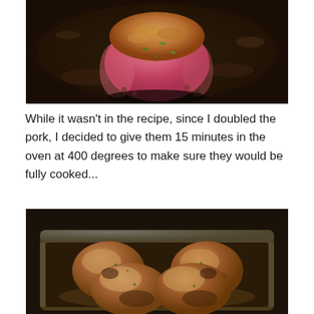[Figure (photo): A raw/partially cooked pork meatball or patty in a dark cast iron skillet, showing pink interior with visible green herbs, golden-brown top with breadcrumb crust.]
While it wasn't in the recipe, since I doubled the pork, I decided to give them 15 minutes in the oven at 400 degrees to make sure they would be fully cooked...
[Figure (photo): Four cooked brown meatballs/patties in a glass baking dish, fully browned and cooked, sitting in their cooking juices.]